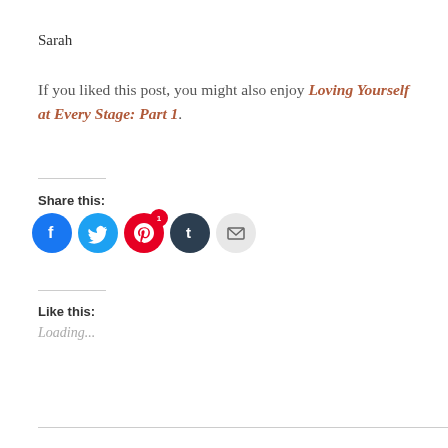Sarah
If you liked this post, you might also enjoy Loving Yourself at Every Stage: Part 1.
Share this:
[Figure (infographic): Social share buttons: Facebook (blue circle), Twitter (light blue circle), Pinterest (red circle with badge '1'), Tumblr (dark circle), Email (light grey circle with envelope icon)]
Like this:
Loading...